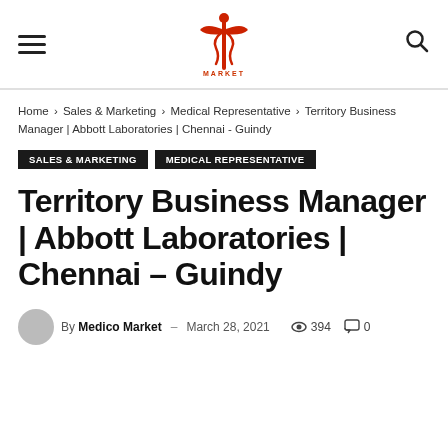Medico Market — navigation header with logo, hamburger menu and search icon
Home › Sales & Marketing › Medical Representative › Territory Business Manager | Abbott Laboratories | Chennai - Guindy
Sales & Marketing   Medical Representative
Territory Business Manager | Abbott Laboratories | Chennai – Guindy
By Medico Market – March 28, 2021   394   0